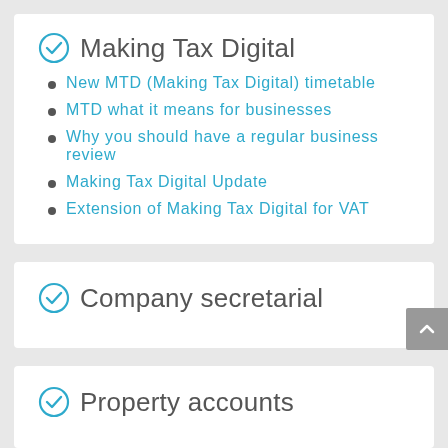Making Tax Digital
New MTD (Making Tax Digital) timetable
MTD what it means for businesses
Why you should have a regular business review
Making Tax Digital Update
Extension of Making Tax Digital for VAT
Company secretarial
Property accounts